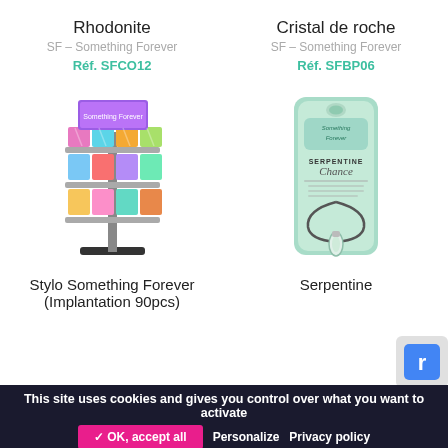Rhodonite
SF – Something Forever
Réf. SFCO12
Cristal de roche
SF – Something Forever
Réf. SFBP06
[Figure (photo): Display stand with multiple colorful crystal pen products arranged in rows]
[Figure (photo): Green packaged necklace product labeled Serpentine Chance]
Stylo Something Forever (Implantation 90pcs)
Serpentine
This site uses cookies and gives you control over what you want to activate
✓ OK, accept all
Personalize
Privacy policy